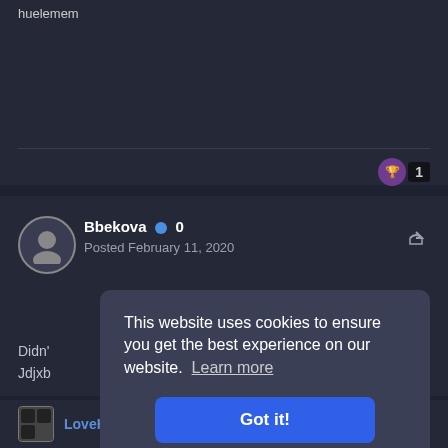huelemem
Bbekova  0
Posted February 11, 2020
Didn't
Jdjxb
This website uses cookies to ensure you get the best experience on our website. Learn more
Got it!
LoveHaxed  0